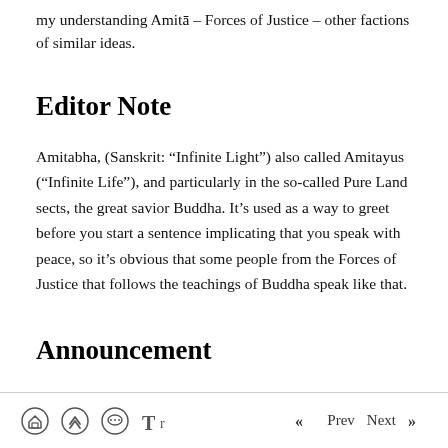my understanding Amitā – Forces of Justice – other factions of similar ideas.
Editor Note
Amitabha, (Sanskrit: “Infinite Light”) also called Amitayus (“Infinite Life”), and particularly in the so-called Pure Land sects, the great savior Buddha. It’s used as a way to greet before you start a sentence implicating that you speak with peace, so it’s obvious that some people from the Forces of Justice that follows the teachings of Buddha speak like that.
Announcement
Home | Scroll up | Comments | Text size | Prev | Next